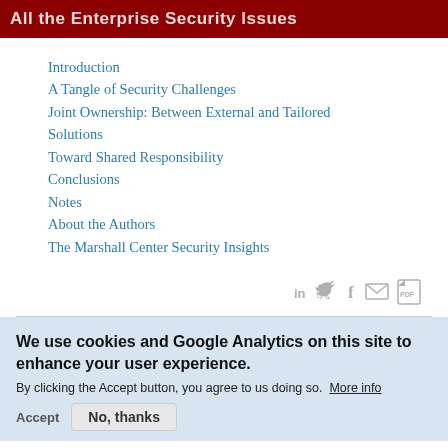All the Enterprise Security Issues
Introduction
A Tangle of Security Challenges
Joint Ownership: Between External and Tailored Solutions
Toward Shared Responsibility
Conclusions
Notes
About the Authors
The Marshall Center Security Insights
[Figure (other): Social sharing icons: LinkedIn, Twitter, Facebook, Email, PDF]
We use cookies and Google Analytics on this site to enhance your user experience.
By clicking the Accept button, you agree to us doing so. More info
Accept  No, thanks